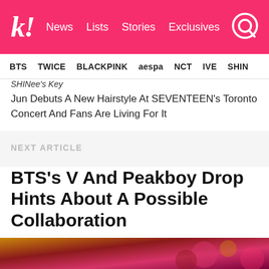k! News Lists Stories Exclusives
BTS  TWICE  BLACKPINK  aespa  NCT  IVE  SHINee
SHINee's Key
Jun Debuts A New Hairstyle At SEVENTEEN's Toronto Concert And Fans Are Living For It
NEXT ARTICLE
BTS's V And Peakboy Drop Hints About A Possible Collaboration
New music could be in the works.
[Figure (photo): Colorful blurred background image strip at the bottom of the page in warm red, pink, and gold tones]